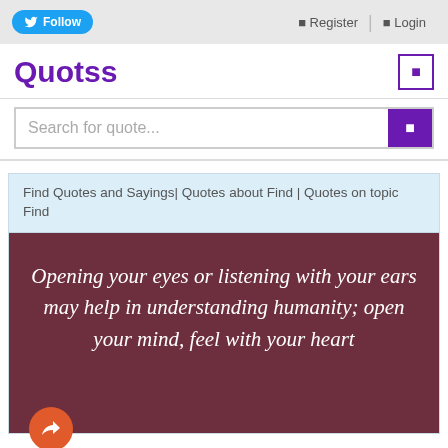Follow | Register | Login
Quotss
Search for quote...
Find Quotes and Sayings| Quotes about Find | Quotes on topic Find
[Figure (illustration): Dark mauve/brown background with large italic white text of a quote: 'Opening your eyes or listening with your ears may help in understanding humanity; open your mind, feel with your heart']